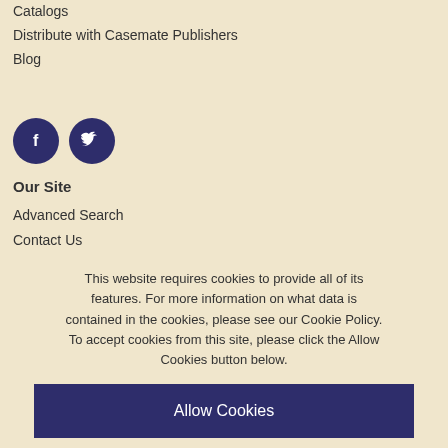Catalogs
Distribute with Casemate Publishers
Blog
[Figure (illustration): Two circular dark navy social media icons: Facebook (f) and Twitter (bird)]
Our Site
Advanced Search
Contact Us
Customer Services
Shipping Details
Terms & Conditions
Privacy policy
Cookie policy
This website requires cookies to provide all of its features. For more information on what data is contained in the cookies, please see our Cookie Policy. To accept cookies from this site, please click the Allow Cookies button below.
Allow Cookies